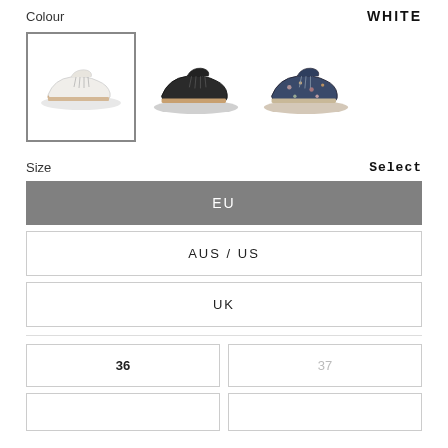Colour
WHITE
[Figure (photo): Three shoe color options shown as thumbnail images. First (selected, with border): white leather lace-up sneaker. Second: black leather lace-up sneaker. Third: floral/patterned lace-up sneaker.]
Size
Select
EU
AUS / US
UK
36
37